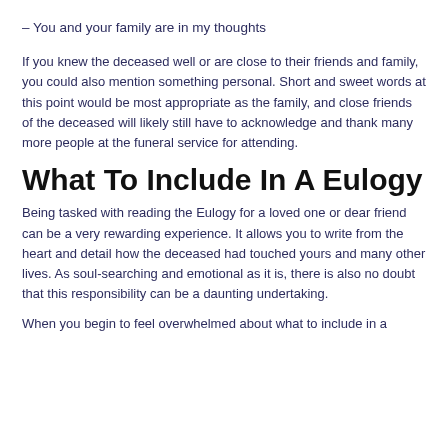– You and your family are in my thoughts
If you knew the deceased well or are close to their friends and family, you could also mention something personal. Short and sweet words at this point would be most appropriate as the family, and close friends of the deceased will likely still have to acknowledge and thank many more people at the funeral service for attending.
What To Include In A Eulogy
Being tasked with reading the Eulogy for a loved one or dear friend can be a very rewarding experience. It allows you to write from the heart and detail how the deceased had touched yours and many other lives. As soul-searching and emotional as it is, there is also no doubt that this responsibility can be a daunting undertaking.
When you begin to feel overwhelmed about what to include in a